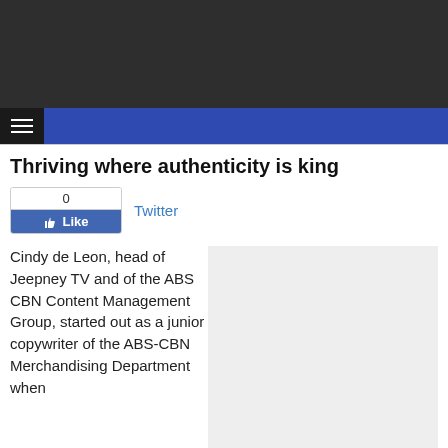[Figure (other): Dark header banner area]
☰ navigation bar
Thriving where authenticity is king
[Figure (other): Facebook Like button showing count 0 and Like button]
Twitter
Cindy de Leon, head of Jeepney TV and of the ABS CBN Content Management Group, started out as a junior copywriter of the ABS-CBN Merchandising Department when